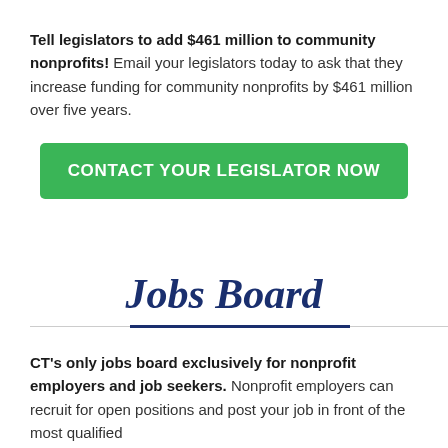Tell legislators to add $461 million to community nonprofits! Email your legislators today to ask that they increase funding for community nonprofits by $461 million over five years.
[Figure (other): Green call-to-action button labeled CONTACT YOUR LEGISLATOR NOW]
Jobs Board
CT's only jobs board exclusively for nonprofit employers and job seekers. Nonprofit employers can recruit for open positions and post your job in front of the most qualified